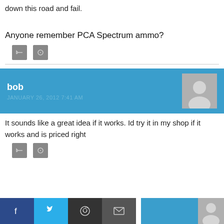down this road and fail.
Anyone remember PCA Spectrum ammo?
[Figure (other): Two small gray icon buttons (reply and comment icons)]
bob
JANUARY 26, 2012 7:41 AM
[Figure (photo): Gray avatar silhouette placeholder image]
It sounds like a great idea if it works. Id try it in my shop if it works and is priced right
[Figure (other): Two small gray icon buttons (reply and comment icons)]
[Figure (other): Social share bar with Facebook, Twitter, Reddit, and Email buttons]